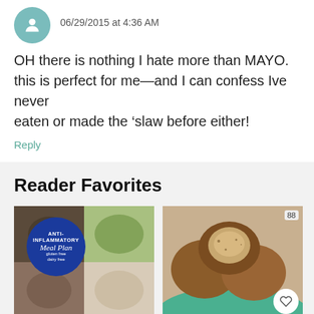06/29/2015 at 4:36 AM
OH there is nothing I hate more than MAYO. this is perfect for me—and I can confess Ive never eaten or made the ‘slaw before either!
Reply
Reader Favorites
[Figure (photo): Anti-Inflammatory Meal Plan collage image with blue circle badge and food photos]
[Figure (photo): Baked muffins or rolls in a green bowl with heart save button and count badge showing 88]